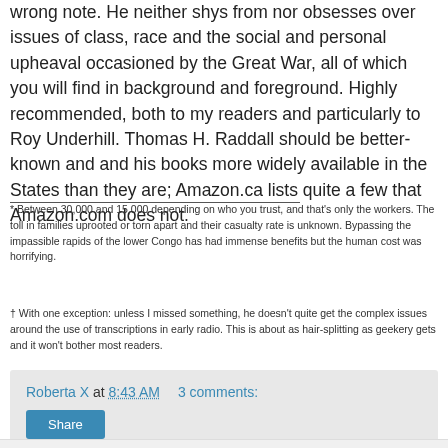wrong note. He neither shys from nor obsesses over issues of class, race and the social and personal upheaval occasioned by the Great War, all of which you will find in background and foreground. Highly recommended, both to my readers and particularly to Roy Underhill. Thomas H. Raddall should be better-known and and his books more widely available in the States than they are; Amazon.ca lists quite a few that Amazon.com does not.
* Between 30,000 and 15,000 depending on who you trust, and that's only the workers. The toll in families uprooted or torn apart and their casualty rate is unknown. Bypassing the impassible rapids of the lower Congo has had immense benefits but the human cost was horrifying.
† With one exception: unless I missed something, he doesn't quite get the complex issues around the use of transcriptions in early radio. This is about as hair-splitting as geekery gets and it won't bother most readers.
Roberta X at 8:43 AM    3 comments: